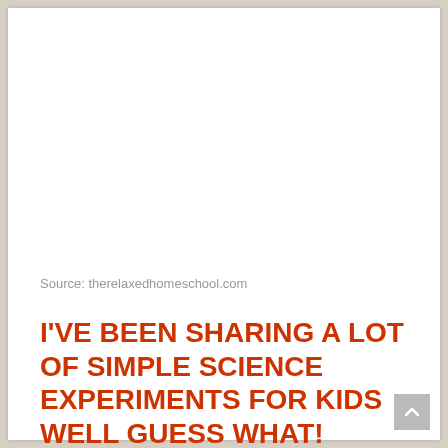Source: therelaxedhomeschool.com
I'VE BEEN SHARING A LOT OF SIMPLE SCIENCE EXPERIMENTS FOR KIDS WELL GUESS WHAT!